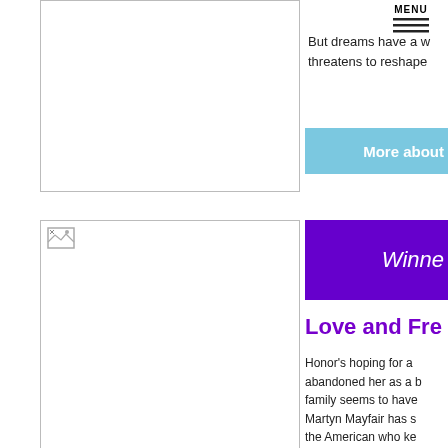MENU
But dreams have a w threatens to reshape
[Figure (other): Blue 'More about' button/banner]
[Figure (photo): Book cover image placeholder (top)]
[Figure (photo): Book cover image placeholder (bottom) with small image icon]
[Figure (other): Purple 'Winne' banner]
Love and Fre
Honor's hoping for a abandoned her as a b family seems to have Martyn Mayfair has s the American who ke built on honesty, but h about her mother sta